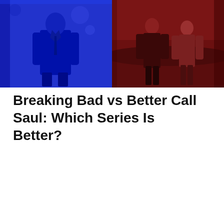[Figure (photo): Two-panel composite image. Left panel: a man in a suit with blue color overlay (Better Call Saul). Right panel: two men standing outdoors with dark red/maroon color overlay (Breaking Bad).]
Breaking Bad vs Better Call Saul: Which Series Is Better?